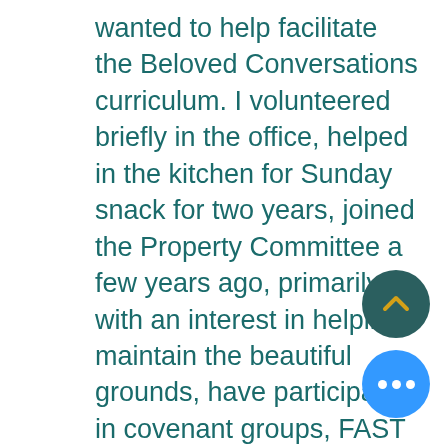wanted to help facilitate the Beloved Conversations curriculum. I volunteered briefly in the office, helped in the kitchen for Sunday snack for two years, joined the Property Committee a few years ago, primarily with an interest in helping maintain the beautiful grounds, have participated in covenant groups, FAST and the Nominating committee one year. I grew up in New York, have a BA in International Relations from University of Wisconsin- Madison, lived 30 years and raised my son in Vermont. I received a Master's in Education from UVM after working in the early education field for the Parent/Child Centers, part of a network of non-profit agencies